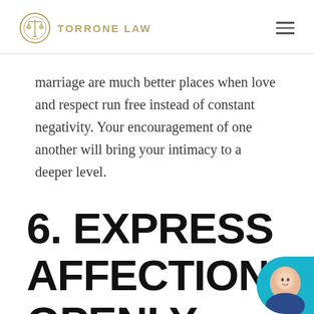TORRONE LAW
marriage are much better places when love and respect run free instead of constant negativity. Your encouragement of one another will bring your intimacy to a deeper level.
6. EXPRESS AFFECTION OPENLY AND BE